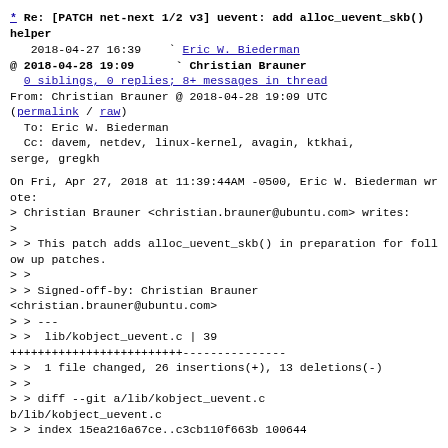* Re: [PATCH net-next 1/2 v3] uevent: add alloc_uevent_skb() helper
2018-04-27 16:39   ` Eric W. Biederman
@ 2018-04-28 19:09     ` Christian Brauner
  0 siblings, 0 replies; 8+ messages in thread
From: Christian Brauner @ 2018-04-28 19:09 UTC
(permalink / raw)
  To: Eric W. Biederman
  Cc: davem, netdev, linux-kernel, avagin, ktkhai, serge, gregkh
On Fri, Apr 27, 2018 at 11:39:44AM -0500, Eric W. Biederman wrote:
> Christian Brauner <christian.brauner@ubuntu.com> writes:
>
> > This patch adds alloc_uevent_skb() in preparation for follow up patches.
> >
> > Signed-off-by: Christian Brauner <christian.brauner@ubuntu.com>
> > ---
> >  lib/kobject_uevent.c | 39
+++++++++++++++++++++++++---------------
> >  1 file changed, 26 insertions(+), 13 deletions(-)
> >
> > diff --git a/lib/kobject_uevent.c b/lib/kobject_uevent.c
> > index 15ea216a67ce..c3cb110f663b 100644